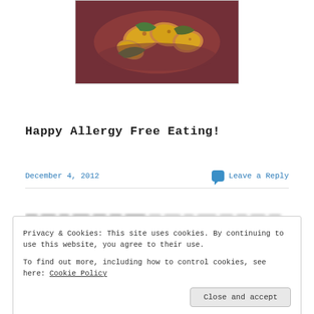[Figure (photo): Food photo showing roasted or cooked golden potatoes with green herbs on a dark reddish-purple background]
Happy Allergy Free Eating!
December 4, 2012
Leave a Reply
Privacy & Cookies: This site uses cookies. By continuing to use this website, you agree to their use.
To find out more, including how to control cookies, see here: Cookie Policy
Close and accept